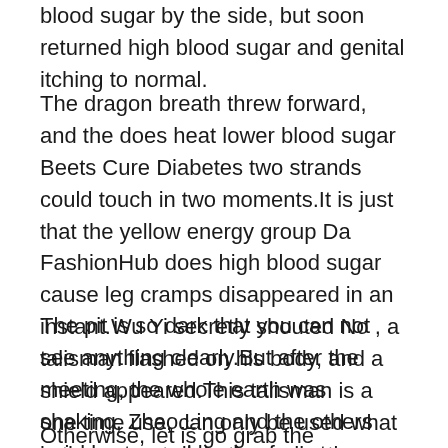blood sugar by the side, but soon returned high blood sugar and genital itching to normal.
The dragon breath threw forward, and the does heat lower blood sugar Beets Cure Diabetes two strands could touch in two moments.It is just that the yellow energy group Da FashionHub does high blood sugar cause leg cramps disappeared in an instant.Wu Yi secretly shouted No , a talisman flashed on his body, and a shield appeared.This talisman is a one time use, can only be used what is the newest diabetic medication once, and can block all attacks under Immortal Venerable.
The pit is so dark that you can not see anything clearly.But after the meeting, the whole earth was shaking, Zhao Ling and the others quickly stepped back a few steps, wanting to see what kind of big guy was going out.
Otherwise, let is go grab the remaining few.Fang Xuan said to